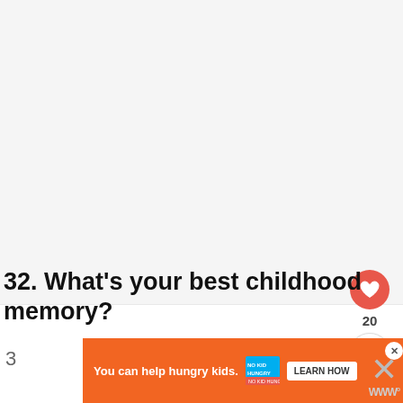[Figure (screenshot): Large white/light gray blank area occupying the top two-thirds of the page, representing a scrollable web page content area with no visible content in this portion.]
[Figure (other): Pink/red circular heart (like) button on the right side, with a count of 20 below it, and a white circular share button below that.]
32. What’s your best childhood memory?
3
[Figure (other): Orange advertisement banner: 'You can help hungry kids. NO KID HUNGRY LEARN HOW' with a close X button. Partially visible at bottom of page.]
[Figure (other): Large X close button on right side of page and partial W logo watermark at bottom right corner.]